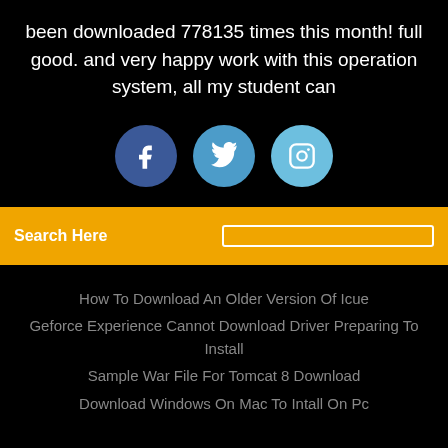been downloaded 778135 times this month! full good. and very happy work with this operation system, all my student can
[Figure (illustration): Three social media icons: Facebook (dark blue circle with 'f'), Twitter (medium blue circle with bird icon), Instagram (light blue circle with camera icon)]
Search Here
How To Download An Older Version Of Icue
Geforce Experience Cannot Download Driver Preparing To Install
Sample War File For Tomcat 8 Download
Download Windows On Mac To Intall On Pc
Copyright ©2022 All rights reserved